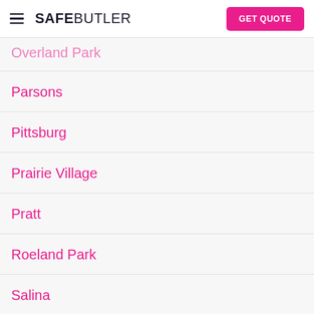SAFEBUTLER | GET QUOTE
Overland Park
Parsons
Pittsburg
Prairie Village
Pratt
Roeland Park
Salina